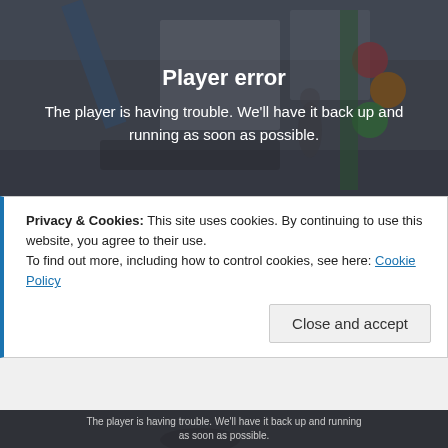[Figure (screenshot): Video player area showing a darkened/blurred interior room background with a player error message overlay]
Player error
The player is having trouble. We'll have it back up and running as soon as possible.
Synergy HQ Preview & Grand Opening
Privacy & Cookies: This site uses cookies. By continuing to use this website, you agree to their use.
To find out more, including how to control cookies, see here: Cookie Policy
Close and accept